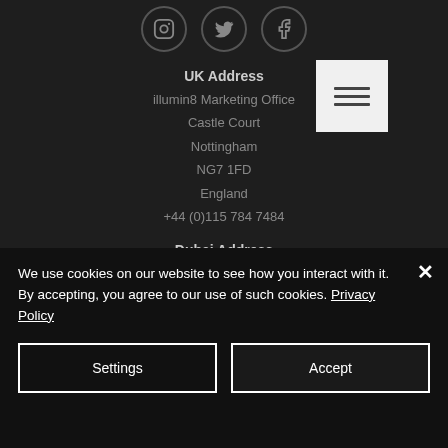[Figure (other): Three circular social media icons: Instagram, Twitter, Facebook on dark background]
UK Address
illumin8 Marketing Office
Castle Court
Nottingham
NG7 1FD
England
+44 (0)115 784 7484
Dubai Address
illumin8 FZC
We use cookies on our website to see how you interact with it. By accepting, you agree to our use of such cookies. Privacy Policy
Settings
Accept